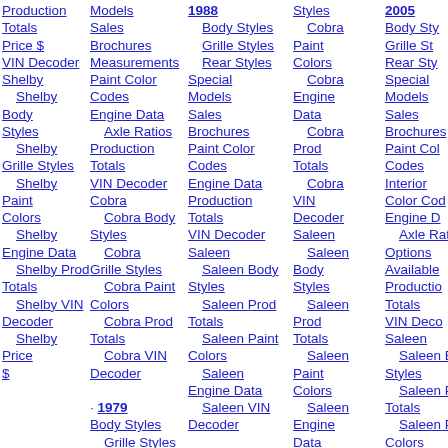Production Totals, Price $, VIN Decoder, Shelby, Shelby Body Styles, Shelby Grille Styles, Shelby Paint Colors, Shelby Engine Data, Shelby Prod Totals, Shelby VIN Decoder, Shelby Price $
Models, Sales, Brochures, Measurements, Paint Color Codes, Engine Data, Axle Ratios, Production Totals, VIN Decoder, Cobra, Cobra Body Styles, Cobra Grille Styles, Cobra Paint Colors, Cobra Prod Totals, Cobra VIN Decoder, · 1979, Body Styles, Grille Styles
1988, Body Styles, Grille Styles, Rear Styles, Special Models, Sales, Brochures, Paint Color Codes, Engine Data, Production Totals, VIN Decoder, Saleen, Saleen Body Styles, Saleen Prod Totals, Saleen Paint Colors, Saleen Engine Data, Saleen VIN Decoder
Styles, Cobra, Paint Colors, Cobra Engine Data, Cobra Prod Totals, Cobra VIN Decoder, Saleen, Saleen Body Styles, Saleen Prod Totals, Saleen Paint Colors, Saleen Engine Data
2005, Body Styles, Grille Styles, Rear Styles, Special Models, Sales, Brochures, Paint Color Codes, Interior Color Codes, Engine Data, Axle Ratios, Options Available, Production Totals, VIN Decoder, Saleen, Saleen Body Styles, Saleen Prod Totals, Saleen Paint Colors